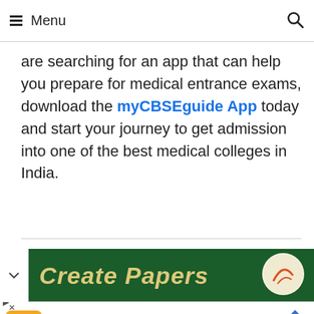Menu
are searching for an app that can help you prepare for medical entrance exams, download the myCBSEguide App today and start your journey to get admission into one of the best medical colleges in India.
[Figure (screenshot): Green banner with text 'Create Papers' and a circular logo]
Caring Licensed Pharmacists Wegmans